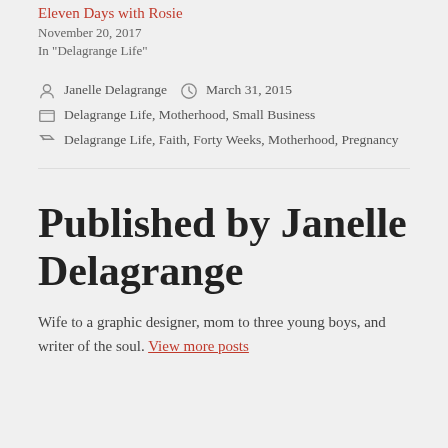Eleven Days with Rosie
November 20, 2017
In "Delagrange Life"
Janelle Delagrange   March 31, 2015
Delagrange Life, Motherhood, Small Business
Delagrange Life, Faith, Forty Weeks, Motherhood, Pregnancy
Published by Janelle Delagrange
Wife to a graphic designer, mom to three young boys, and writer of the soul. View more posts